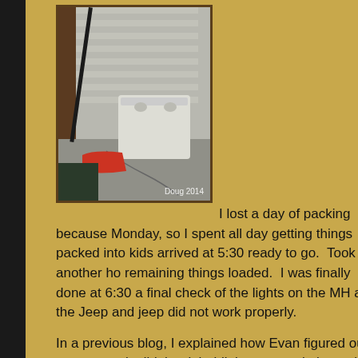[Figure (photo): Outdoor photo showing a broom leaning against a house siding wall, a white plastic storage bin/laundry basket, red dustpan on concrete, near a door frame. Watermark reads 'Doug 2014'.]
I lost a day of packing because Monday, so I spent all day getting things packed into kids arrived at 5:30 ready to go.  Took me another ho remaining things loaded.  I was finally done at 6:30 a final check of the lights on the MH and the Jeep and jeep did not work properly.

In a previous blog, I explained how Evan figured out now, not only did the right blinker not work, but neith